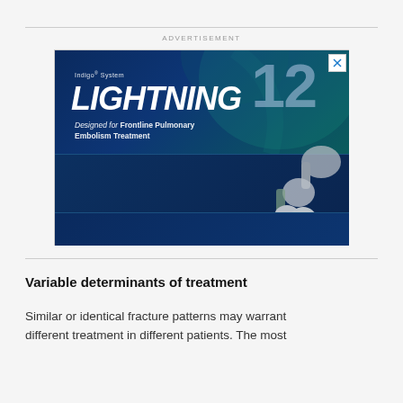[Figure (illustration): Advertisement for Penumbra Indigo System Lightning 12 – The Only Computer-Aided Aspiration device on the market. Shows the Lightning 12 device and Penumbra ENGINE with teal/blue background. Text: Indigo System, LIGHTNING 12, Designed for Frontline Pulmonary Embolism Treatment. a. As of March 2022.]
Variable determinants of treatment
Similar or identical fracture patterns may warrant different treatment in different patients. The most